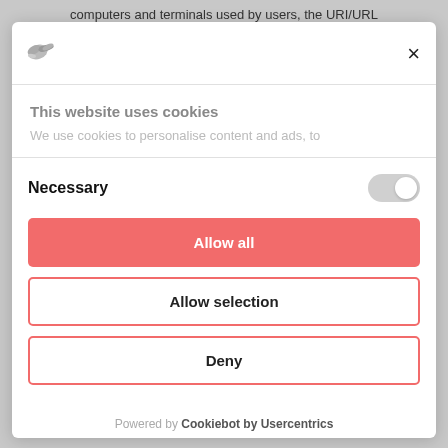computers and terminals used by users, the URI/URL
[Figure (logo): Small bird/dove logo in grayscale]
×
This website uses cookies
We use cookies to personalise content and ads, to
Necessary
[Figure (other): Toggle switch in off/grey state]
Allow all
Allow selection
Deny
Powered by Cookiebot by Usercentrics